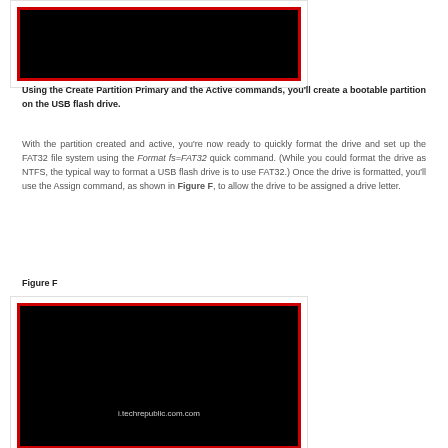[Figure (screenshot): Black screenshot image with red border — top of page, partially visible]
Using the Create Partition Primary and the Active commands, you'll create a bootable partition on the USB flash drive.
With the partition created and active, you're now ready to quickly format the drive and set up the FAT32 file system using the Format fs=FAT32 quick command. (While you could format the drive as NTFS, the typical way to format a USB flash drive is to use FAT32.) Once the drive is formatted, you'll use the Assign command, as shown in Figure F, to allow the drive to be assigned a drive letter.
Figure F
[Figure (screenshot): Black screenshot image with red border showing command prompt, watermark text: i.techrepublic.com.com]